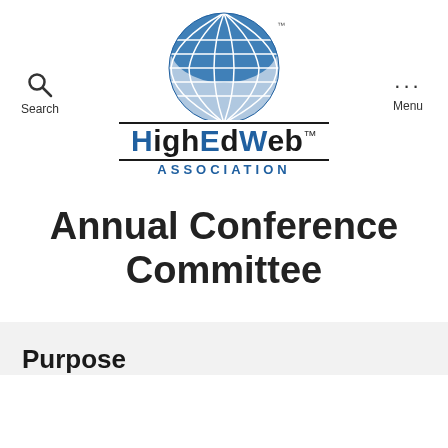[Figure (logo): HighEdWeb Association logo with globe graphic and text]
Annual Conference Committee
Purpose